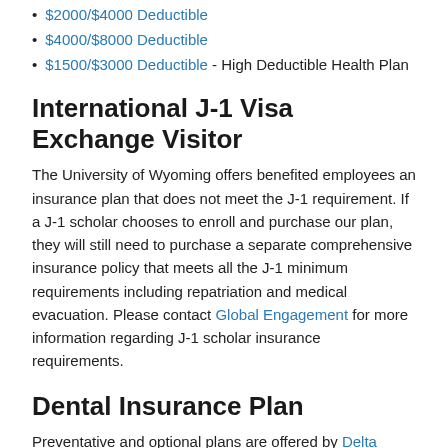$2000/$4000 Deductible
$4000/$8000 Deductible
$1500/$3000 Deductible - High Deductible Health Plan
International J-1 Visa Exchange Visitor
The University of Wyoming offers benefited employees an insurance plan that does not meet the J-1 requirement. If a J-1 scholar chooses to enroll and purchase our plan, they will still need to purchase a separate comprehensive insurance policy that meets all the J-1 minimum requirements including repatriation and medical evacuation. Please contact Global Engagement for more information regarding J-1 scholar insurance requirements.
Dental Insurance Plan
Preventative and optional plans are offered by Delta Dental. If this coverage is waived or dropped, there is a three-year waiting period before enrolling.
Delta Dental Handbook